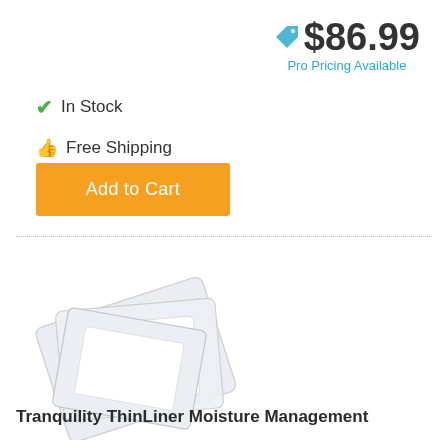$86.99 Pro Pricing Available
✓ In Stock
👍 Free Shipping
Add to Cart
[Figure (photo): Product photo of Tranquility ThinLiner Moisture Management pads — white disposable underpads stacked/fanned out]
Tranquility ThinLiner Moisture Management